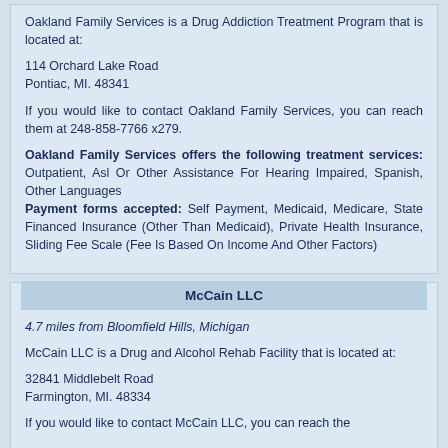Oakland Family Services is a Drug Addiction Treatment Program that is located at:

114 Orchard Lake Road
Pontiac, MI. 48341

If you would like to contact Oakland Family Services, you can reach them at 248-858-7766 x279.

Oakland Family Services offers the following treatment services: Outpatient, Asl Or Other Assistance For Hearing Impaired, Spanish, Other Languages
Payment forms accepted: Self Payment, Medicaid, Medicare, State Financed Insurance (Other Than Medicaid), Private Health Insurance, Sliding Fee Scale (Fee Is Based On Income And Other Factors)
McCain LLC
4.7 miles from Bloomfield Hills, Michigan
McCain LLC is a Drug and Alcohol Rehab Facility that is located at:

32841 Middlebelt Road
Farmington, MI. 48334

If you would like to contact McCain LLC, you can reach them...